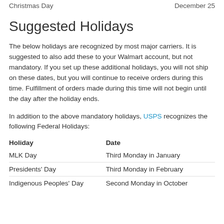Christmas Day    December 25
Suggested Holidays
The below holidays are recognized by most major carriers. It is suggested to also add these to your Walmart account, but not mandatory. If you set up these additional holidays, you will not ship on these dates, but you will continue to receive orders during this time. Fulfillment of orders made during this time will not begin until the day after the holiday ends.
In addition to the above mandatory holidays, USPS recognizes the following Federal Holidays:
| Holiday | Date |
| --- | --- |
| MLK Day | Third Monday in January |
| Presidents' Day | Third Monday in February |
| Indigenous Peoples' Day | Second Monday in October |